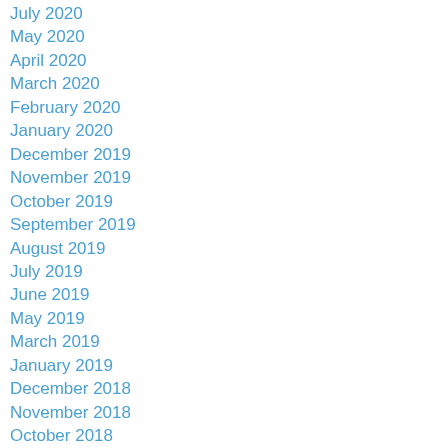July 2020
May 2020
April 2020
March 2020
February 2020
January 2020
December 2019
November 2019
October 2019
September 2019
August 2019
July 2019
June 2019
May 2019
March 2019
January 2019
December 2018
November 2018
October 2018
September 2018
August 2018